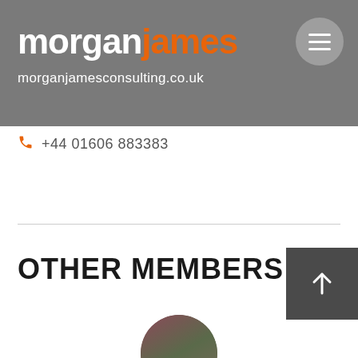morgan james consulting .co.uk
+44 01606 883383
OTHER MEMBERS
[Figure (photo): Circular portrait photo of a person with reddish-brown hair, partially visible at the bottom of the page]